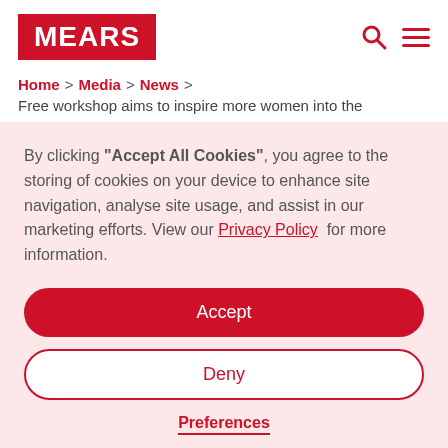MEARS
Home > Media > News > Free workshop aims to inspire more women into the
By clicking "Accept All Cookies", you agree to the storing of cookies on your device to enhance site navigation, analyse site usage, and assist in our marketing efforts. View our Privacy Policy for more information.
Accept
Deny
Preferences